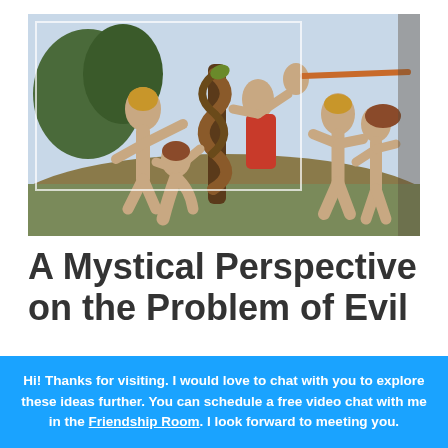[Figure (illustration): Michelangelo's The Fall and Expulsion from Garden of Eden fresco from the Sistine Chapel, showing Adam and Eve taking the fruit from the serpent on the left, and being expelled by an angel on the right. Classical Renaissance painting with warm earthy tones.]
A Mystical Perspective on the Problem of Evil
Hi! Thanks for visiting. I would love to chat with you to explore these ideas further. You can schedule a free video chat with me in the Friendship Room. I look forward to meeting you.